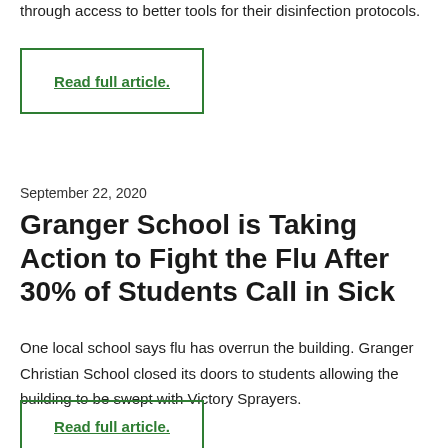through access to better tools for their disinfection protocols.
Read full article.
September 22, 2020
Granger School is Taking Action to Fight the Flu After 30% of Students Call in Sick
One local school says flu has overrun the building. Granger Christian School closed its doors to students allowing the building to be swept with Victory Sprayers.
Read full article.